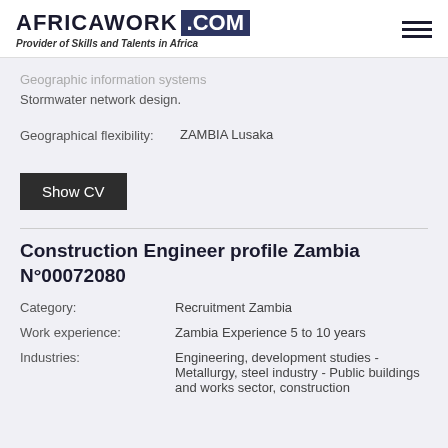AFRICAWORK .COM - Provider of Skills and Talents in Africa
Geographic information systems Stormwater network design.
Geographical flexibility: ZAMBIA Lusaka
Show CV
Construction Engineer profile Zambia N°00072080
Category: Recruitment Zambia
Work experience: Zambia Experience 5 to 10 years
Industries: Engineering, development studies - Metallurgy, steel industry - Public buildings and works sector, construction